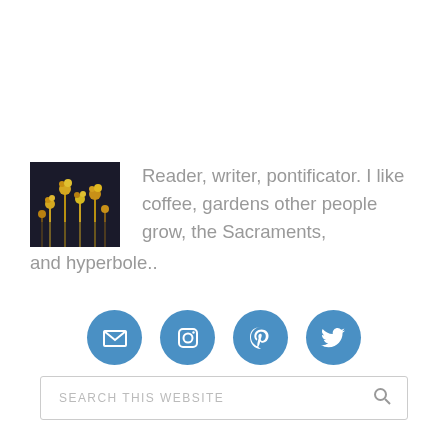[Figure (photo): Small square thumbnail photo showing what appears to be golden/yellow flowers or plants against a dark background]
Reader, writer, pontificator. I like coffee, gardens other people grow, the Sacraments, and hyperbole..
[Figure (infographic): Four circular blue social media icon buttons: email/envelope, Instagram, Pinterest, Twitter]
SEARCH THIS WEBSITE